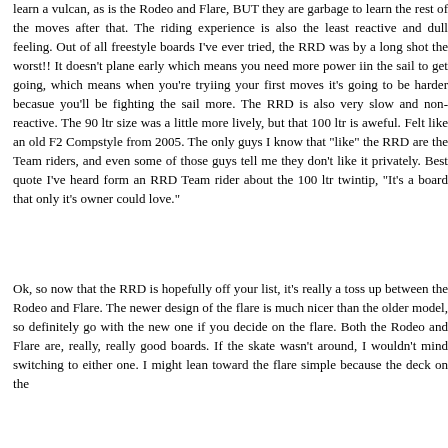learn a vulcan, as is the Rodeo and Flare, BUT they are garbage to learn the rest of the moves after that. The riding experience is also the least reactive and dull feeling. Out of all freestyle boards I've ever tried, the RRD was by a long shot the worst!! It doesn't plane early which means you need more power iin the sail to get going, which means when you're tryiing your first moves it's going to be harder becasue you'll be fighting the sail more. The RRD is also very slow and non-reactive. The 90 ltr size was a little more lively, but that 100 ltr is aweful. Felt like an old F2 Compstyle from 2005. The only guys I know that "like" the RRD are the Team riders, and even some of those guys tell me they don't like it privately. Best quote I've heard form an RRD Team rider about the 100 ltr twintip, "It's a board that only it's owner could love."
Ok, so now that the RRD is hopefully off your list, it's really a toss up between the Rodeo and Flare. The newer design of the flare is much nicer than the older model, so definitely go with the new one if you decide on the flare. Both the Rodeo and Flare are, really, really good boards. If the skate wasn't around, I wouldn't mind switching to either one. I might lean toward the flare simple because the deck on the